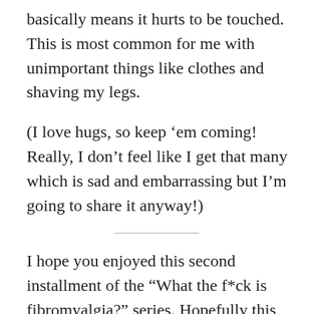basically means it hurts to be touched. This is most common for me with unimportant things like clothes and shaving my legs.
(I love hugs, so keep ’em coming! Really, I don’t feel like I get that many which is sad and embarrassing but I’m going to share it anyway!)
I hope you enjoyed this second installment of the “What the f*ck is fibromyalgia?” series. Hopefully this provides some insight into my life, and some others who you may know. Really though, it could be a lot worse. I am fortunate that my fibro is more or less under control, without medication. I know that not everyone is that lucky, and I do my best to not take it for